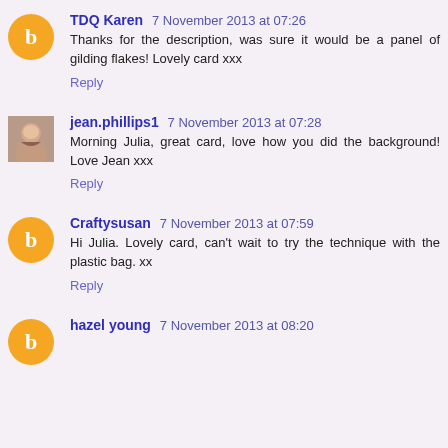TDQ Karen 7 November 2013 at 07:26
Thanks for the description, was sure it would be a panel of gilding flakes! Lovely card xxx
Reply
jean.phillips1 7 November 2013 at 07:28
Morning Julia, great card, love how you did the background! Love Jean xxx
Reply
Craftysusan 7 November 2013 at 07:59
Hi Julia. Lovely card, can't wait to try the technique with the plastic bag. xx
Reply
hazel young 7 November 2013 at 08:20